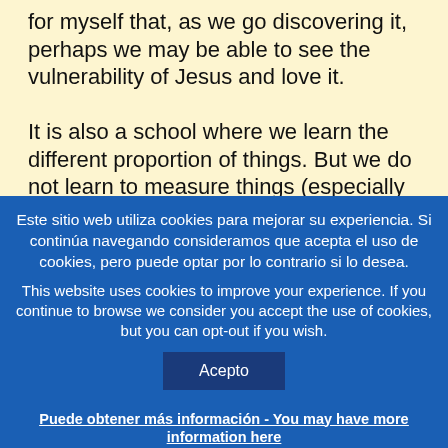for myself that, as we go discovering it, perhaps we may be able to see the vulnerability of Jesus and love it.

It is also a school where we learn the different proportion of things. But we do not learn to measure things (especially not patience). The cross is large, and it is
Este sitio web utiliza cookies para mejorar su experiencia. Si continúa navegando consideramos que acepta el uso de cookies, pero puede optar por lo contrario si lo desea.
This website uses cookies to improve your experience. If you continue to browse we consider you accept the use of cookies, but you can opt-out if you wish.
Acepto
Puede obtener más información - You may have more information here